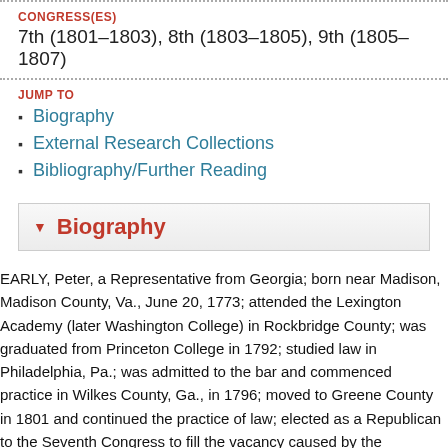CONGRESS(ES)
7th (1801–1803), 8th (1803–1805), 9th (1805–1807)
JUMP TO
Biography
External Research Collections
Bibliography/Further Reading
▼ Biography
EARLY, Peter, a Representative from Georgia; born near Madison, Madison County, Va., June 20, 1773; attended the Lexington Academy (later Washington College) in Rockbridge County; was graduated from Princeton College in 1792; studied law in Philadelphia, Pa.; was admitted to the bar and commenced practice in Wilkes County, Ga., in 1796; moved to Greene County in 1801 and continued the practice of law; elected as a Republican to the Seventh Congress to fill the vacancy caused by the resignation of John Milledge; reelected to the Eighth and Ninth